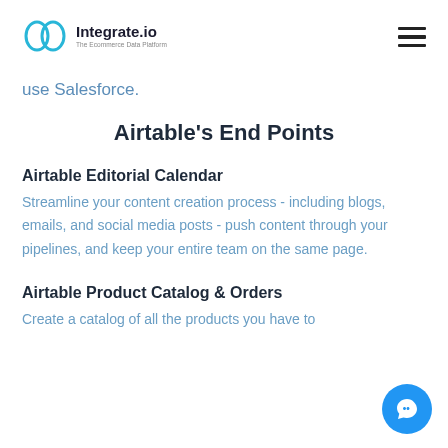Integrate.io — The Ecommerce Data Platform
use Salesforce.
Airtable's End Points
Airtable Editorial Calendar
Streamline your content creation process - including blogs, emails, and social media posts - push content through your pipelines, and keep your entire team on the same page.
Airtable Product Catalog & Orders
Create a catalog of all the products you have to